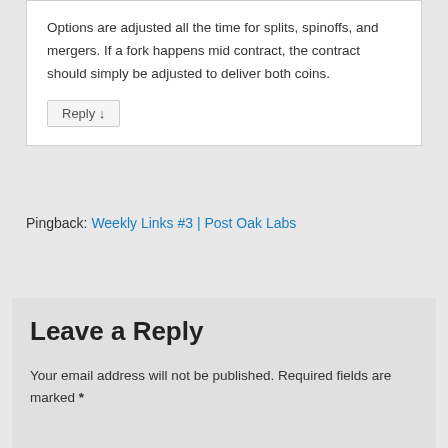Options are adjusted all the time for splits, spinoffs, and mergers. If a fork happens mid contract, the contract should simply be adjusted to deliver both coins.
Reply ↓
Pingback: Weekly Links #3 | Post Oak Labs
Leave a Reply
Your email address will not be published. Required fields are marked *